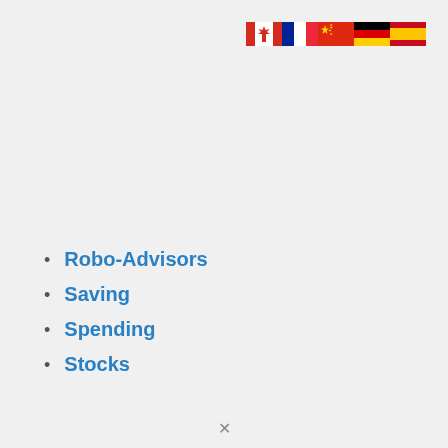[Figure (illustration): Row of country flag icons: Canada, France, China, Germany, Spain]
Robo-Advisors
Saving
Spending
Stocks